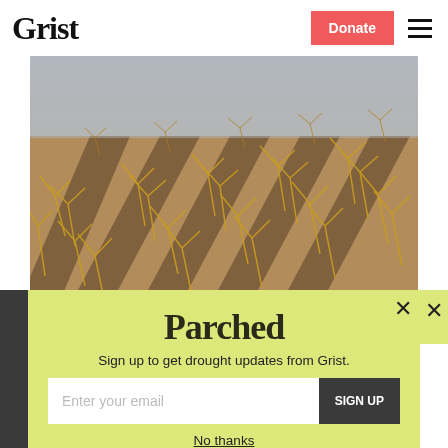Grist
[Figure (photo): Rows of dried, withered corn crops in cracked, dry soil — a drought-stricken field photographed from above at an angle.]
Parched
Sign up to get drought updates from Grist.
Enter your email
SIGN UP
No thanks